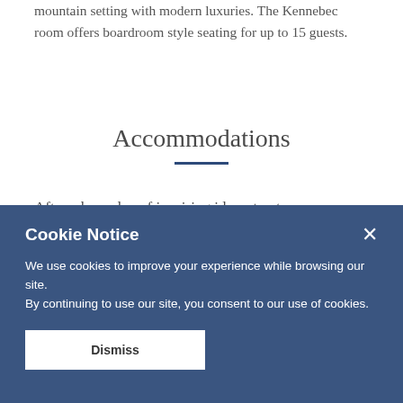mountain setting with modern luxuries. The Kennebec room offers boardroom style seating for up to 15 guests.
Accommodations
After a busy day of inspiring ideas, treat your attendees to a true resort experience. Both of Boyne's business event locations in Maine offer a variety of different lodging options
Cookie Notice

We use cookies to improve your experience while browsing our site. By continuing to use our site, you consent to our use of cookies.

Dismiss